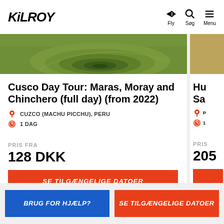KiLROY
[Figure (photo): Aerial view of circular terraced field (Moray ruins), green landscape]
Cusco Day Tour: Maras, Moray and Chinchero (full day) (from 2022)
CUZCO (MACHU PICCHU), PERU
1 DAG
PRIS FRA
128 DKK
SE TILGÆNGELIGE DATOER
[Figure (photo): Partial aerial landscape photo (second card, cropped)]
Hu Sa
P
1
PRIS
205
BRUG FOR HJÆLP?
SE TILGÆNGELIGE DATOER